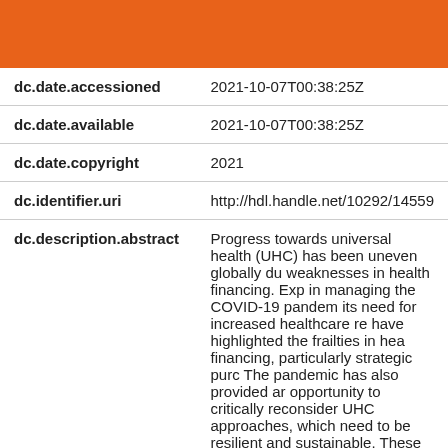[Figure (other): Orange decorative header bar]
| dc.date.accessioned | 2021-10-07T00:38:25Z |
| dc.date.available | 2021-10-07T00:38:25Z |
| dc.date.copyright | 2021 |
| dc.identifier.uri | http://hdl.handle.net/10292/14559 |
| dc.description.abstract | Progress towards universal health (UHC) has been uneven globally due to weaknesses in health financing. Exp in managing the COVID-19 pandemic its need for increased healthcare re have highlighted the frailties in health financing, particularly strategic purchasing. The pandemic has also provided an opportunity to critically reconsider UHC approaches, which need to be resilient and sustainable. These adjustments include applying robu |